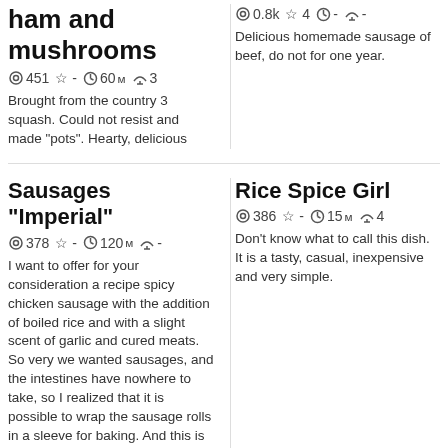ham and mushrooms
451  -  60м  3
Brought from the country 3 squash. Could not resist and made "pots". Hearty, delicious
0.8k  4  -  -
Delicious homemade sausage of beef, do not for one year.
Sausages "Imperial"
378  -  120м  -
I want to offer for your consideration a recipe spicy chicken sausage with the addition of boiled rice and with a slight scent of garlic and cured meats. So very we wanted sausages, and the intestines have nowhere to take, so I realized that it is possible to wrap the sausage rolls in a sleeve for baking. And this is what came of it. Try, very tasty and satisfying!!!
Rice Spice Girl
386  -  15м  4
Don't know what to call this dish. It is a tasty, casual, inexpensive and very simple.
Favorite dish Sheldon Cooper
Ham "Cussler Florentine"